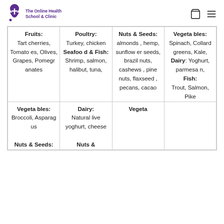The Online Health School & Clinic
| Fruits: | Poultry: | Nuts & Seeds: | Vegetables: |
| --- | --- | --- | --- |
| Tart cherries, Tomatoes, Olives, Grapes, Pomegranates | Turkey, chicken | almonds, hemp, sunflower seeds, brazil nuts, cashews, pine nuts, flaxseed, pecans, cacao | Spinach, Collard greens, Kale, |
| Vegetables: Broccoli, Asparagus | Seafood & Fish: Shrimp, salmon, halibut, tuna, |  | Dairy: Yoghurt, parmesan, |
| Nuts & Seeds: | Dairy: Natural live yoghurt, cheese | Vegeta | Fish: Trout, Salmon, Pike |
|  | Nuts & |  |  |